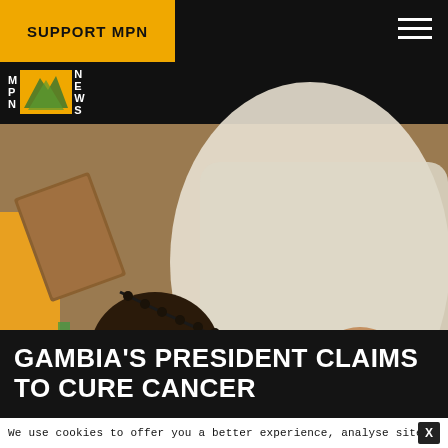SUPPORT MPN
[Figure (photo): A person in white robes holding prayer beads over the back of a seated person, with a book visible on the left side. Scene appears to be a healing or religious ceremony.]
GAMBIA'S PRESIDENT CLAIMS TO CURE CANCER
We use cookies to offer you a better experience, analyse site traffi…